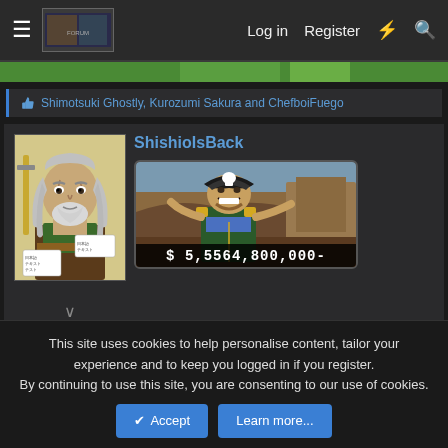Log in  Register
Shimotsuki Ghostly, Kurozumi Sakura and ChefboiFuego
ShishioIsBack
[Figure (illustration): Manga character avatar - older man with long silver hair holding a sword, green outfit]
[Figure (screenshot): Game/anime banner image showing a pirate captain character with text '$ 5,5564,800,000-']
May 12, 2022
#8,534
This site uses cookies to help personalise content, tailor your experience and to keep you logged in if you register.
By continuing to use this site, you are consenting to our use of cookies.
Accept   Learn more...